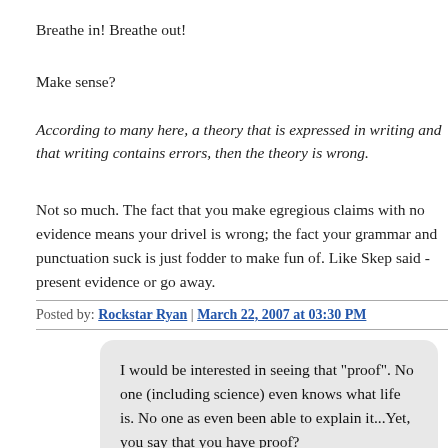Breathe in! Breathe out!
Make sense?
According to many here, a theory that is expressed in writing and that writing contains errors, then the theory is wrong.
Not so much. The fact that you make egregious claims with no evidence means your drivel is wrong; the fact your grammar and punctuation suck is just fodder to make fun of. Like Skep said - present evidence or go away.
Posted by: Rockstar Ryan | March 22, 2007 at 03:30 PM
I would be interested in seeing that "proof". No one (including science) even knows what life is. No one as even been able to explain it...Yet, you say that you have proof?
Oh, for the love of... Okay, we covered this in my Biology class, freshman year High School, in the first week. To be considered alive, an organism must satisfy the following five conditions: 1. It must have a metabolism; i.e., it must either consume food or produce its own. 2. It must consist of one or more cells. All life forms on the planet have cellular organization. 3. It must have the capacity to reproduce, sexually or asexually. 4. It must have DNA. 5. It must have a wa